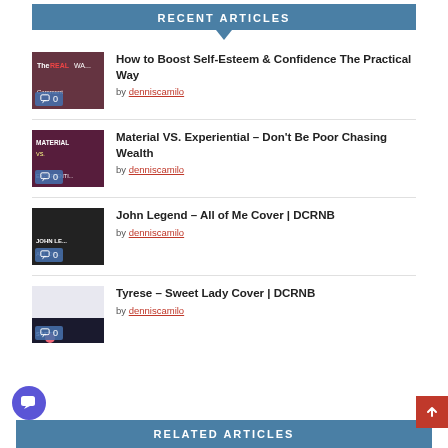RECENT ARTICLES
How to Boost Self-Esteem & Confidence The Practical Way by denniscamilo
Material VS. Experiential – Don't Be Poor Chasing Wealth by denniscamilo
John Legend – All of Me Cover | DCRNB by denniscamilo
Tyrese – Sweet Lady Cover | DCRNB by denniscamilo
RELATED ARTICLES